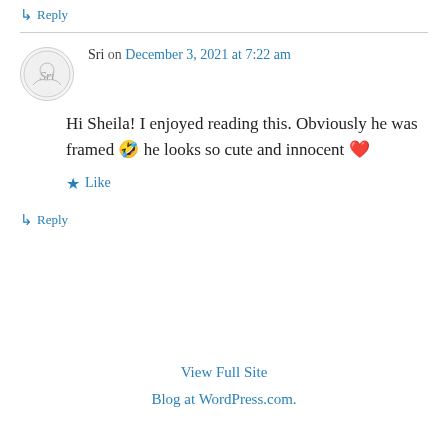↳ Reply
Sri on December 3, 2021 at 7:22 am
Hi Sheila! I enjoyed reading this. Obviously he was framed 🤣 he looks so cute and innocent ❤
★ Like
↳ Reply
View Full Site
Blog at WordPress.com.